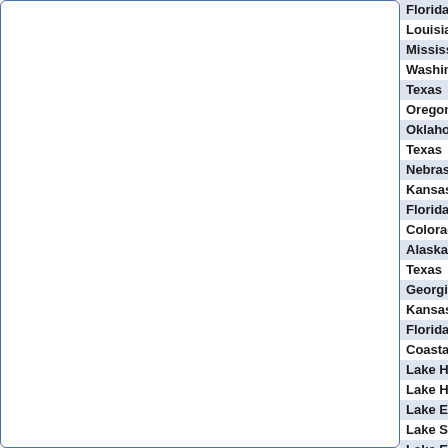| Location | Type |
| --- | --- |
| Florida | Urb... |
| Louisiana | Urba... |
| Mississippi | Urba... |
| Washington | Air S... |
| Texas | Air S... |
| Oregon | Air S... |
| Oklahoma | Air S... |
| Texas | Spe... |
| Nebraska | Spe... |
| Kansas | Spe... |
| Florida | Spe... |
| Colorado | Spe... |
| Alaska | Spe... |
| Texas | Flas... |
| Georgia | Seve... |
| Kansas | Seve... |
| Florida | Seve... |
| Coastal California | Mari... |
| Lake Huron | Mari... |
| Lake Huron,Lake Huron | Mari... |
| Lake Erie,Lake St. Clair | Mari... |
| Lake Superior,St. Marys River | Mari... |
| Lake Erie | Mari... |
| Lake Erie | Mari... |
| Lake Ontario | Mari... |